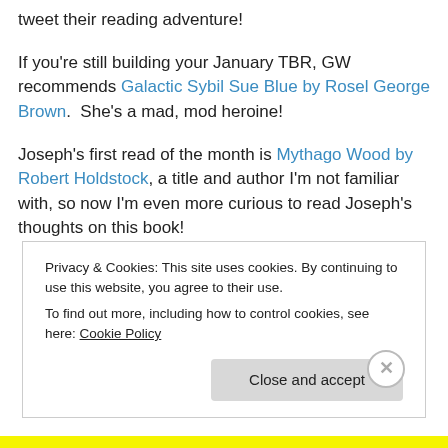tweet their reading adventure!
If you're still building your January TBR, GW recommends Galactic Sybil Sue Blue by Rosel George Brown.  She's a mad, mod heroine!
Joseph's first read of the month is Mythago Wood by Robert Holdstock, a title and author I'm not familiar with, so now I'm even more curious to read Joseph's thoughts on this book!
Privacy & Cookies: This site uses cookies. By continuing to use this website, you agree to their use.
To find out more, including how to control cookies, see here: Cookie Policy
Close and accept